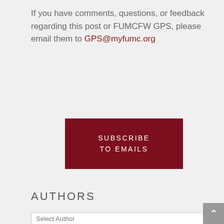If you have comments, questions, or feedback regarding this post or FUMCFW GPS, please email them to GPS@myfumc.org
[Figure (other): Dark red subscribe button with white text reading SUBSCRIBE TO EMAILS]
AUTHORS
Select Author